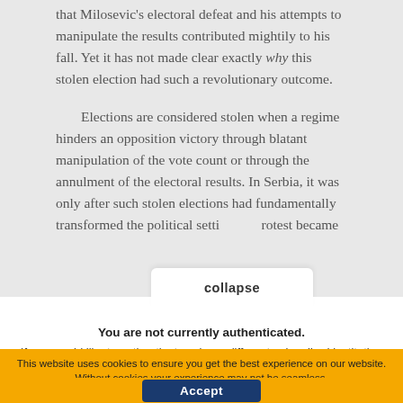that Milosevic's electoral defeat and his attempts to manipulate the results contributed mightily to his fall. Yet it has not made clear exactly why this stolen election had such a revolutionary outcome.
Elections are considered stolen when a regime hinders an opposition victory through blatant manipulation of the vote count or through the annulment of the electoral results. In Serbia, it was only after such stolen elections had fundamentally transformed the political setti… protest became
collapse
You are not currently authenticated.
If you would like to authenticate using a different subscribed institution or
This website uses cookies to ensure you get the best experience on our website. Without cookies your experience may not be seamless.
Accept